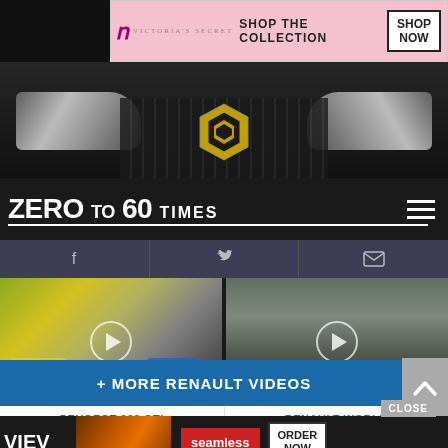[Figure (photo): Victoria's Secret advertisement banner with model, logo, SHOP THE COLLECTION text and SHOP NOW button]
[Figure (photo): Renault car front grille close-up with headlights and diamond badge, hero image for Zero to 60 Times website]
ZERO to 60 TIMES
[Figure (screenshot): Social media icons bar with Facebook, Twitter, and email/envelope icons on dark blue-grey background]
[Figure (photo): Video thumbnail: yellow and blue Peugeot 208 GTI vs Renault cars racing on track with play button overlay]
[Figure (photo): Video thumbnail: Renault Red Bull Formula 1 car on track with multiple cars, play button overlay, Renault World Champion TV video]
PEUGEOT 208 GTI VS RENAULT ...
RENAULT WORLD CHAMPION TV ...
+ MORE RENAULT VIDEOS
CLOSE
[Figure (photo): Seamless food delivery advertisement with pizza image, seamless logo in red, and ORDER NOW button]
VIEW